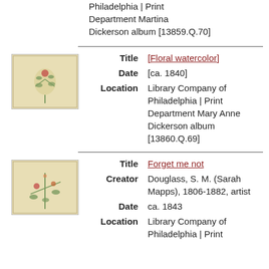Philadelphia | Print Department Martina Dickerson album [13859.Q.70]
[Figure (photo): Thumbnail image of a floral watercolor artwork with botanical illustration on cream/aged paper background]
Title  [Floral watercolor]
Date  [ca. 1840]
Location  Library Company of Philadelphia | Print Department Mary Anne Dickerson album [13860.Q.69]
[Figure (photo): Thumbnail image of a floral watercolor artwork with botanical illustration on cream/aged paper background]
Title  Forget me not
Creator  Douglass, S. M. (Sarah Mapps), 1806-1882, artist
Date  ca. 1843
Location  Library Company of Philadelphia | Print